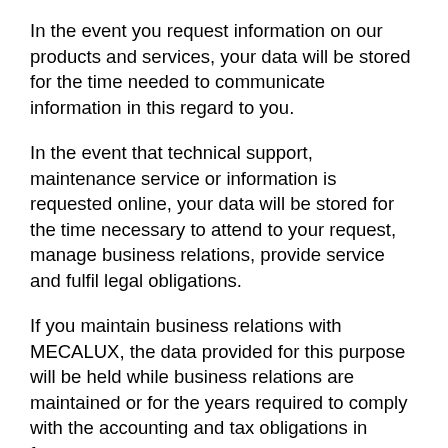In the event you request information on our products and services, your data will be stored for the time needed to communicate information in this regard to you.
In the event that technical support, maintenance service or information is requested online, your data will be stored for the time necessary to attend to your request, manage business relations, provide service and fulfil legal obligations.
If you maintain business relations with MECALUX, the data provided for this purpose will be held while business relations are maintained or for the years required to comply with the accounting and tax obligations in force.
Your personal data could be processed to send you surveys on our products and services in order to know about your experience with MECALUX and